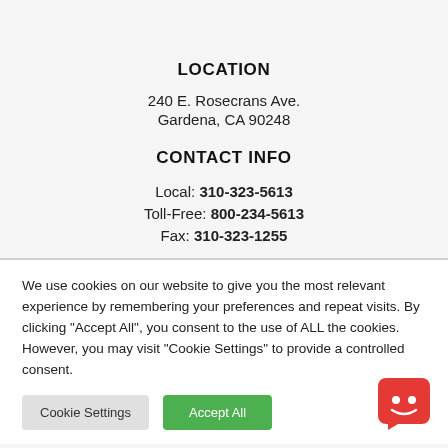LOCATION
240 E. Rosecrans Ave.
Gardena, CA 90248
CONTACT INFO
Local: 310-323-5613
Toll-Free: 800-234-5613
Fax: 310-323-1255
We use cookies on our website to give you the most relevant experience by remembering your preferences and repeat visits. By clicking "Accept All", you consent to the use of ALL the cookies. However, you may visit "Cookie Settings" to provide a controlled consent.